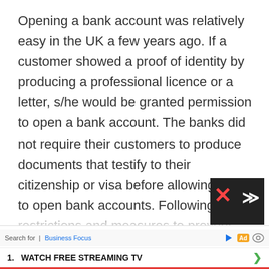Opening a bank account was relatively easy in the UK a few years ago. If a customer showed a proof of identity by producing a professional licence or a letter, s/he would be granted permission to open a bank account. The banks did not require their customers to produce documents that testify to their citizenship or visa before allowing them to open bank accounts. Following policy restrictions and measures to prevent potential risk of misusing bank accounts, banks in the UK generally conduct an extensive personal identity check before allowing their customers to open a bank account. Many banks in the UK now request customers to prove their legal status in
Search for | Business Focus  [Ad icons]  1. WATCH FREE STREAMING TV